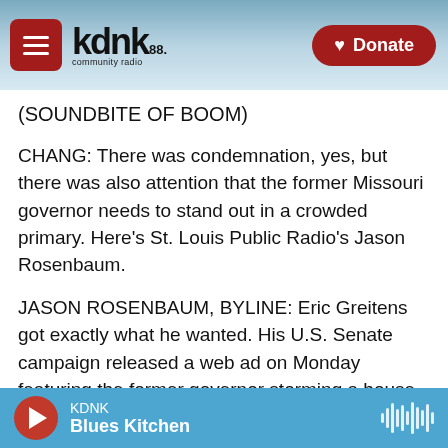KDNK 88.1 community radio | Donate
(SOUNDBITE OF BOOM)
CHANG: There was condemnation, yes, but there was also attention that the former Missouri governor needs to stand out in a crowded primary. Here's St. Louis Public Radio's Jason Rosenbaum.
JASON ROSENBAUM, BYLINE: Eric Greitens got exactly what he wanted. His U.S. Senate campaign released a web ad on Monday featuring the former governor storming a house with a big gun alongside people dressed as armed military members. Greitens's ad hit a nerve. Facebook removed the
KDNK | Blues Kitchen